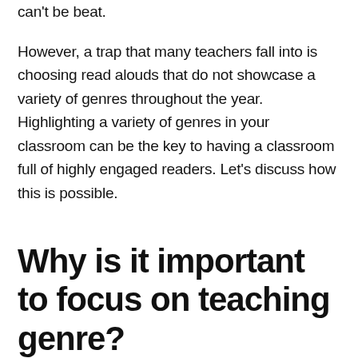can't be beat.
However, a trap that many teachers fall into is choosing read alouds that do not showcase a variety of genres throughout the year. Highlighting a variety of genres in your classroom can be the key to having a classroom full of highly engaged readers. Let's discuss how this is possible.
Why is it important to focus on teaching genre?